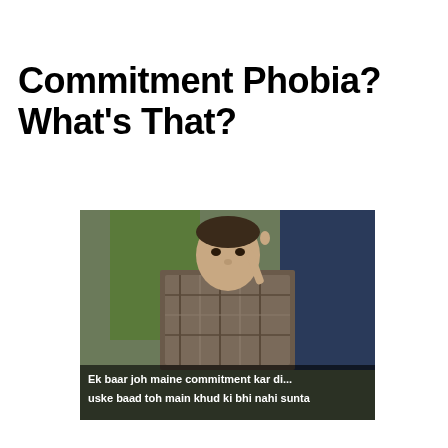Commitment Phobia? What's That?
[Figure (photo): Meme image of a Bollywood actor pointing his finger, with subtitle text: 'Ek baar joh maine commitment kar di... uske baad toh main khud ki bhi nahi sunta']